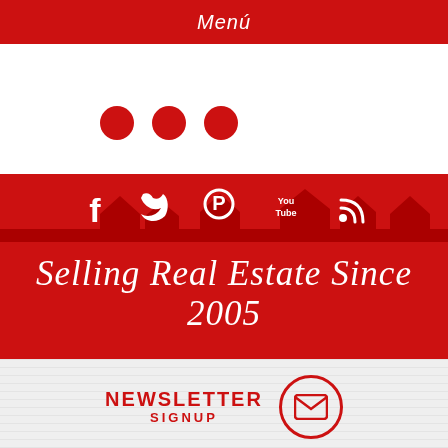Menú
[Figure (illustration): Three red filled circles arranged horizontally]
[Figure (illustration): Red banner with house skyline silhouette, social media icons (Facebook, Twitter, Pinterest, YouTube, RSS), and cursive text reading 'Selling Real Estate Since 2005']
NEWSLETTER SIGNUP
Enter your First Name
Enter your Mail